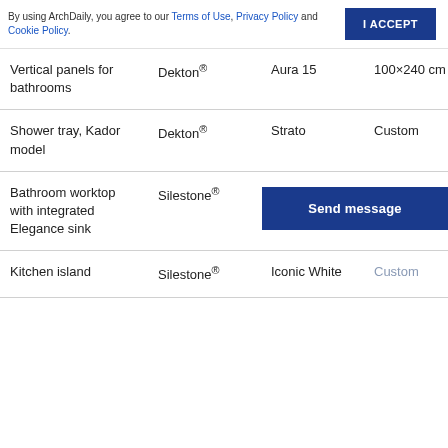By using ArchDaily, you agree to our Terms of Use, Privacy Policy and Cookie Policy.
| Product | Brand | Model/Color | Size | Thickness |
| --- | --- | --- | --- | --- |
| Vertical panels for bathrooms | Dekton® | Aura 15 | 100×240 cm | 8 mm |
| Shower tray, Kador model | Dekton® | Strato | Custom | - |
| Bathroom worktop with integrated Elegance sink | Silestone® | Blanco Zeus | Custom | - |
| Kitchen island | Silestone® | Iconic White | Custom | 2 mm |
Send message